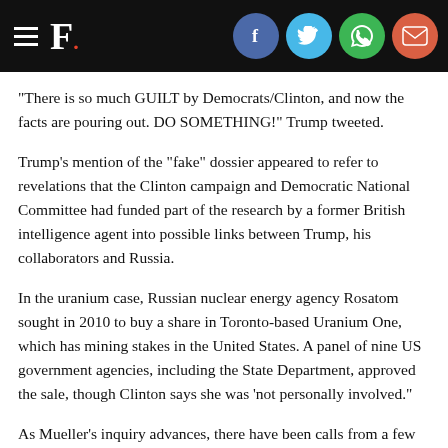F. [with social share icons: Facebook, Twitter, WhatsApp, Email]
"There is so much GUILT by Democrats/Clinton, and now the facts are pouring out. DO SOMETHING!" Trump tweeted.
Trump's mention of the "fake" dossier appeared to refer to revelations that the Clinton campaign and Democratic National Committee had funded part of the research by a former British intelligence agent into possible links between Trump, his collaborators and Russia.
In the uranium case, Russian nuclear energy agency Rosatom sought in 2010 to buy a share in Toronto-based Uranium One, which has mining stakes in the United States. A panel of nine US government agencies, including the State Department, approved the sale, though Clinton says she was 'not personally involved."
As Mueller's inquiry advances, there have been calls from a few Republicans — and from the conservative editorial board of the